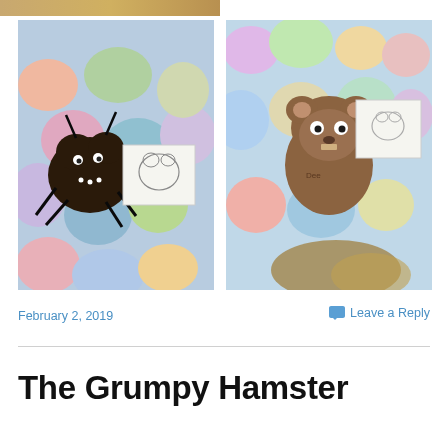[Figure (photo): Photo of a dark brown chocolate-colored hamster craft made from a cookie or clay with pipe cleaner legs and googly eyes, surrounded by colorful balloons. A hand-drawn note card of a hamster sits next to it.]
[Figure (photo): Photo of a brown clay hamster sculpture with googly eyes and ears, surrounded by colorful balloons. A hand-drawn note card sits next to it.]
February 2, 2019
Leave a Reply
The Grumpy Hamster